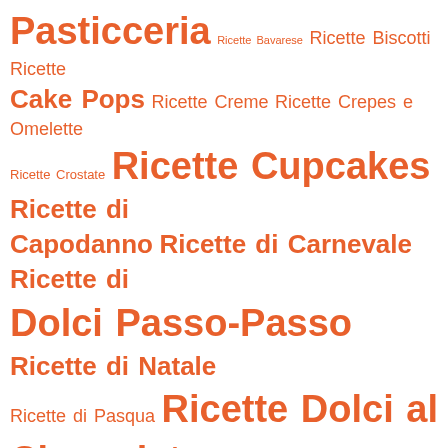Pasticceria Ricette Bavarese Ricette Biscotti Ricette Cake Pops Ricette Creme Ricette Crepes e Omelette Ricette Crostate Ricette Cupcakes Ricette di Capodanno Ricette di Carnevale Ricette di Dolci Passo-Passo Ricette di Natale Ricette di Pasqua Ricette Dolci al Cioccolato Ricette Dolci al Cucchiaio Ricette Dolci alla Frutta Ricette Dolci della Tradizione Ricette Dolci di Natale Ricette Dolci Fritti Ricette Dolci per il Tè Ricette Epifania Ricette Gelati e Sorbetti Ricette Glasse Ricette Halloween Ricette Impasti Base Ricette in Evidenza Ricette Macarons Ricette Muffins Ricette Pasticceria Ricette Pasticcini Ricette per le Feste Ricette per le Sfoglie Ricette per Salse Ricette Plum Cake Ricette San Valentino Ricette Senza Glutine Ricette Soufflé Ricette Torte Tutorial Cake Design